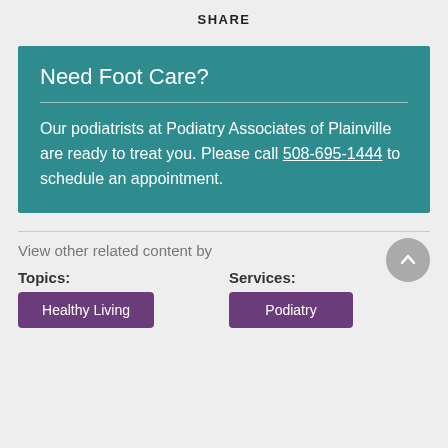SHARE
Need Foot Care?
Our podiatrists at Podiatry Associates of Plainville are ready to treat you. Please call 508-695-1444 to schedule an appointment.
View other related content by
Topics:
Services:
Healthy Living
Podiatry